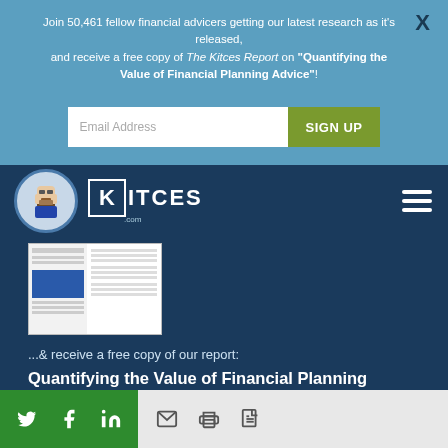Join 50,461 fellow financial advicers getting our latest research as it's released, and receive a free copy of The Kitces Report on "Quantifying the Value of Financial Planning Advice"!
[Figure (screenshot): Email address input field and green SIGN UP button on blue banner]
[Figure (logo): Kitces.com logo with avatar icon and hamburger menu on dark blue navbar]
[Figure (illustration): Thumbnail of The Kitces Report document with blue highlighted section]
...& receive a free copy of our report:
Quantifying the Value of Financial Planning Advice
[Figure (screenshot): SIGN UP NOW! button in blue, with close X circle, and social share bar at bottom with Twitter, Facebook, LinkedIn, email, print, and PDF icons]